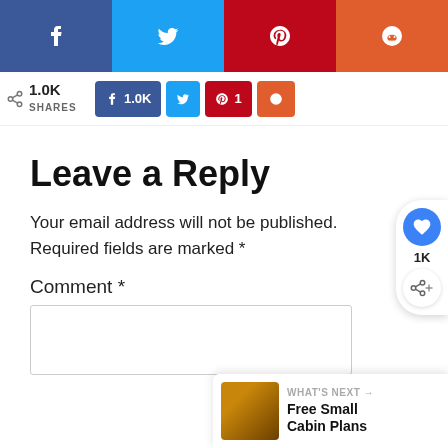[Figure (infographic): Social media share buttons bar with Facebook (blue), Twitter (light blue), Pinterest (red/dark), Reddit (orange-red) icons]
[Figure (infographic): Share count bar showing 1.0K SHARES, Facebook 1.0K button, Twitter button, Pinterest 1 button, Reddit button]
Leave a Reply
Your email address will not be published. Required fields are marked *
Comment *
[Figure (infographic): Floating share widget with heart/like button showing 1K count and share icon]
[Figure (infographic): What's Next banner showing cabin image thumbnail and text 'Free Small Cabin Plans']